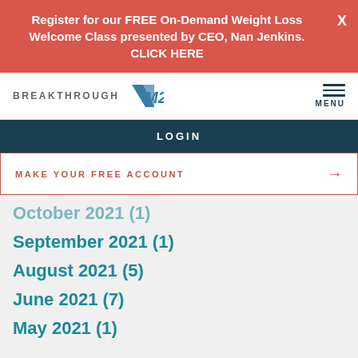Register for our FREE On-Demand Weight Loss Welcome Class presented by CEO, Nan Jenkins. CLICK HERE
[Figure (logo): Breakthrough M2 logo with stylized M2 lettermark]
LOGIN
MAKE YOUR FREE ACCOUNT
October 2021 (1)
September 2021 (1)
August 2021 (5)
June 2021 (7)
May 2021 (1)